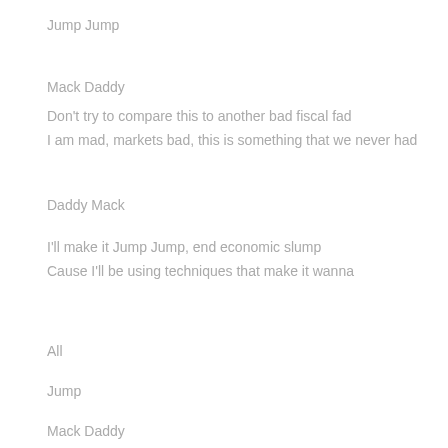Jump Jump
Mack Daddy
Don't try to compare this to another bad fiscal fad
I am mad, markets bad, this is something that we never had
Daddy Mack
I'll make it Jump Jump, end economic slump
Cause I'll be using techniques that make it wanna
All
Jump
Mack Daddy